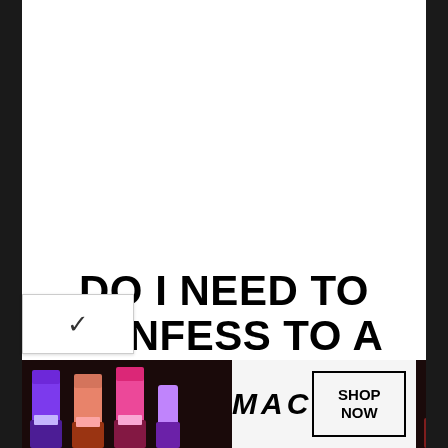[Figure (photo): Large white/blank image area at top of page (appears to be an article header image, mostly white/empty in this crop)]
DO I NEED TO CONFESS TO A PRIEST?
In order to understand the need to confess one's sins to a priest, it is necessary to touch
[Figure (photo): MAC Cosmetics advertisement banner showing colorful lipsticks (purple, peach, pink) on left, MAC logo in center, SHOP NOW button, and red lipstick on right]